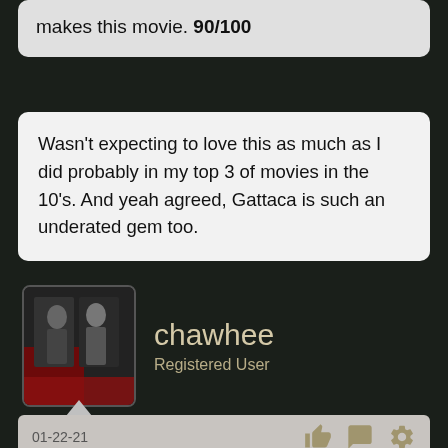makes this movie. 90/100
Wasn't expecting to love this as much as I did probably in my top 3 of movies in the 10's. And yeah agreed, Gattaca is such an underated gem too.
[Figure (photo): User avatar photo showing two people standing together indoors]
chawhee
Registered User
01-22-21
Sound of Metal (2020)
[Figure (screenshot): Click to Load Image placeholder]